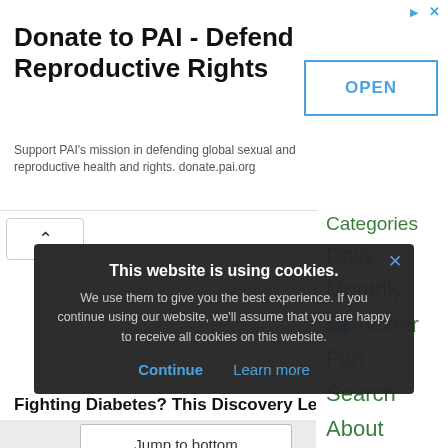[Figure (screenshot): Advertisement banner: Donate to PAI - Defend Reproductive Rights with OPEN button]
Donate to PAI - Defend Reproductive Rights
Support PAI's mission in defending global sexual and reproductive health and rights. donate.pai.org
Categories
Daily
Monthly
Twitter
Fun
Search
About
Fighting Diabetes? This Discovery Leaves Doctors Sp
Jump to bottom
3 comments
Eclectic Cybor…
Apr 22
reply
1
[Figure (screenshot): Cookie consent banner overlay: This website is using cookies. We use them to give you the best experience. If you continue using our website, we'll assume that you are happy to receive all cookies on this website. Continue | Learn more]